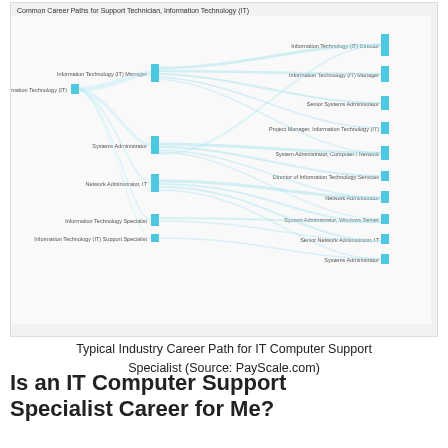[Figure (flowchart): Sankey/flow diagram showing Common Career Paths for Support Technician, Information Technology (IT). Left nodes include: Information Technology (IT) Manager, Support Technician Information Technology (IT), Systems Administrator, Network Administrator IT, Information Technology Specialist, Information Technology (IT) Support Specialist. Right nodes include: Information Technology (IT) Director, Information Technology (IT) Manager, Senior Systems Administrator, Project Manager Information Technology (IT), System Administrator Computer / Network, Director of Information Technology Services, Network Administrator, System Administrator Windows Server, Senior Network Administrator IT, Systems Administrator.]
Typical Industry Career Path for IT Computer Support Specialist (Source: PayScale.com)
Is an IT Computer Support Specialist Career for Me?